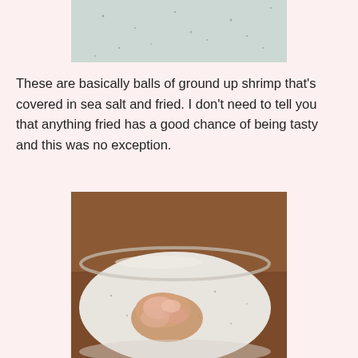[Figure (photo): Top partial photo of a white speckled ceramic plate/bowl, cropped at the top of the page.]
These are basically balls of ground up shrimp that's covered in sea salt and fried. I don't need to tell you that anything fried has a good chance of being tasty and this was no exception.
[Figure (photo): Photo of a white speckled ceramic plate on a wooden table with a fried shrimp ball on it. A dark object is visible in the upper right corner.]